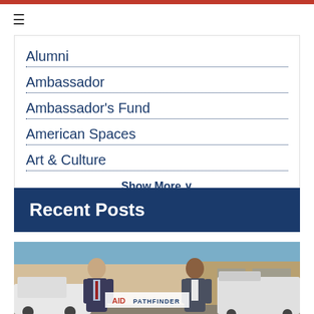Alumni
Ambassador
Ambassador's Fund
American Spaces
Art & Culture
Show More V
Recent Posts
[Figure (photo): Two men shaking hands or speaking in front of vehicles with a USAID and PATHFINDER banner visible in the background, outdoors near a building.]